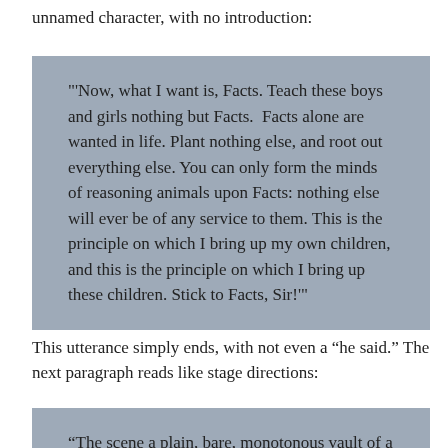unnamed character, with no introduction:
"'Now, what I want is, Facts. Teach these boys and girls nothing but Facts.  Facts alone are wanted in life. Plant nothing else, and root out everything else. You can only form the minds of reasoning animals upon Facts: nothing else will ever be of any service to them. This is the principle on which I bring up my own children, and this is the principle on which I bring up these children. Stick to Facts, Sir!'"
This utterance simply ends, with not even a “he said.” The next paragraph reads like stage directions:
“The scene a plain, bare, monotonous vault of a